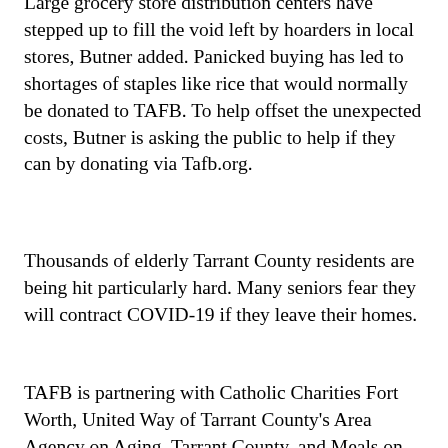Large grocery store distribution centers have stepped up to fill the void left by hoarders in local stores, Butner added. Panicked buying has led to shortages of staples like rice that would normally be donated to TAFB. To help offset the unexpected costs, Butner is asking the public to help if they can by donating via Tafb.org.
Thousands of elderly Tarrant County residents are being hit particularly hard. Many seniors fear they will contract COVID-19 if they leave their homes.
TAFB is partnering with Catholic Charities Fort Worth, United Way of Tarrant County's Area Agency on Aging, Tarrant County, and Meals on Wheels of Tarrant County to address that problem through a new program called COVID-19 SNP. Individuals age 60 and older who do not have enough food to eat during the COVID-19 outbreak are eligible for supplemental food through this program.
Catholic Charities will deliver the weekly meals, which include a 10-pound bag of canned goods and produce provided by TAFB and five